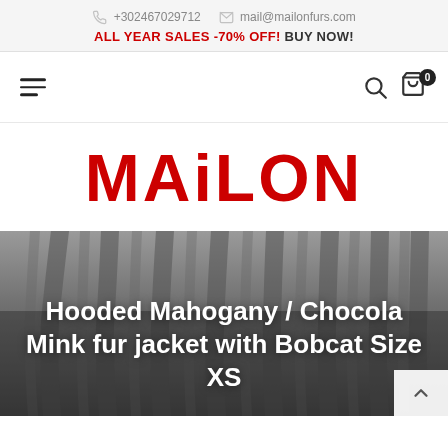+302467029712  mail@mailonfurs.com
ALL YEAR SALES -70% OFF! BUY NOW!
[Figure (logo): MAiLON brand logo in bold red capital letters]
Hooded Mahogany / Chocola Mink fur jacket with Bobcat Size XS